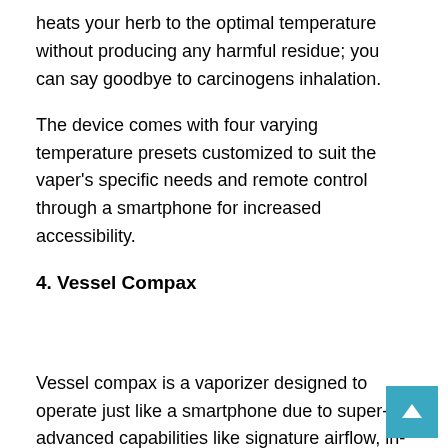heats your herb to the optimal temperature without producing any harmful residue; you can say goodbye to carcinogens inhalation.
The device comes with four varying temperature presets customized to suit the vaper's specific needs and remote control through a smartphone for increased accessibility.
4. Vessel Compax
Vessel compax is a vaporizer designed to operate just like a smartphone due to super-advanced capabilities like signature airflow, in-built rechargeable battery, remote control, and sleek, compact design.